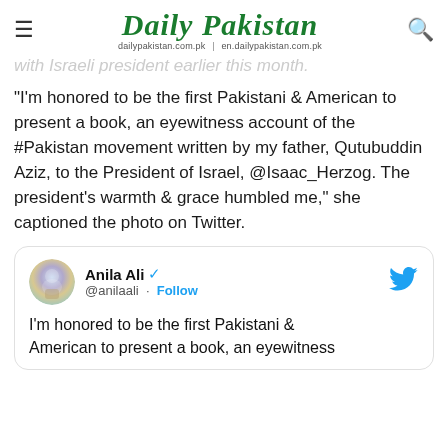Daily Pakistan | dailypakistan.com.pk | en.dailypakistan.com.pk
with Israeli president earlier this month.
“I’m honored to be the first Pakistani & American to present a book, an eyewitness account of the #Pakistan movement written by my father, Qutubuddin Aziz, to the President of Israel, @Isaac_Herzog. The president’s warmth & grace humbled me,” she captioned the photo on Twitter.
[Figure (screenshot): Embedded tweet from @anilaali (Anila Ali, verified) with Twitter bird logo. Text begins: I’m honored to be the first Pakistani & American to present a book, an eyewitness]